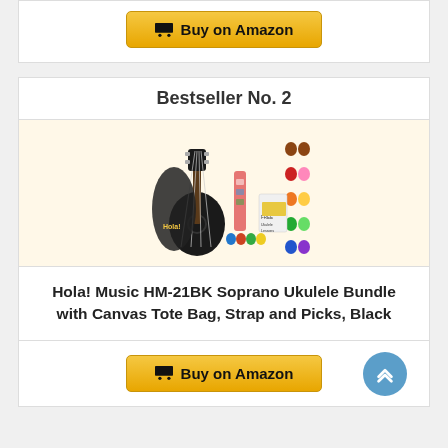[Figure (other): Buy on Amazon button for previous product]
Bestseller No. 2
[Figure (photo): Hola! Music HM-21BK Soprano Ukulele Bundle product image showing black ukulele with canvas tote bag, strap, picks, and color variants]
Hola! Music HM-21BK Soprano Ukulele Bundle with Canvas Tote Bag, Strap and Picks, Black
[Figure (other): Buy on Amazon button]